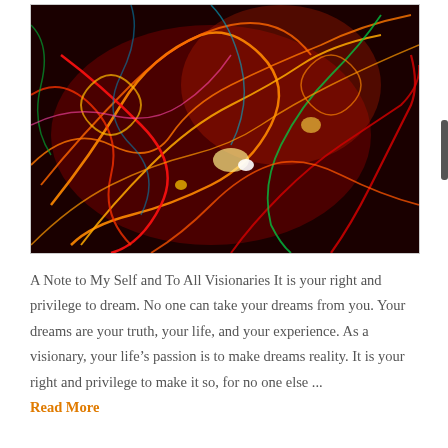[Figure (photo): Abstract long-exposure light painting photograph with swirling colorful light trails — red, orange, yellow, green, blue — on a dark background, creating a chaotic, energetic pattern.]
A Note to My Self and To All Visionaries It is your right and privilege to dream. No one can take your dreams from you. Your dreams are your truth, your life, and your experience. As a visionary, your life's passion is to make dreams reality. It is your right and privilege to make it so, for no one else ...
Read More